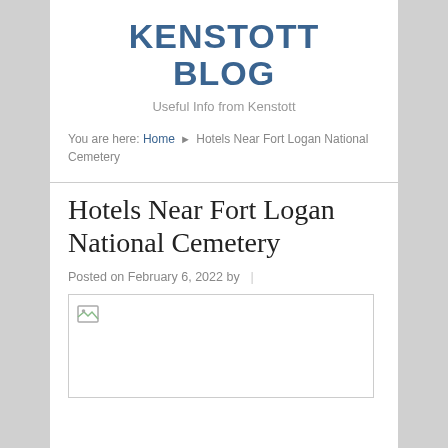KENSTOTT BLOG
Useful Info from Kenstott
You are here: Home ▶ Hotels Near Fort Logan National Cemetery
Hotels Near Fort Logan National Cemetery
Posted on February 6, 2022 by |
[Figure (photo): Broken/missing image placeholder for article about Hotels Near Fort Logan National Cemetery]